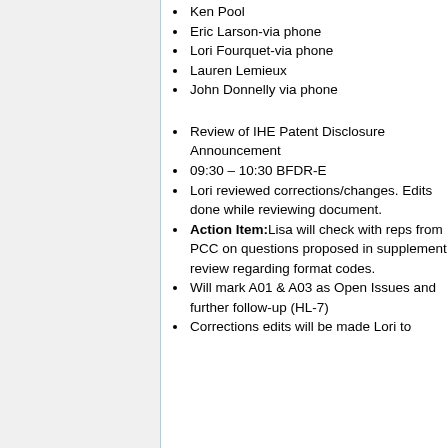Ken Pool
Eric Larson-via phone
Lori Fourquet-via phone
Lauren Lemieux
John Donnelly via phone
Review of IHE Patent Disclosure Announcement
09:30 – 10:30 BFDR-E
Lori reviewed corrections/changes. Edits done while reviewing document.
Action Item:Lisa will check with reps from PCC on questions proposed in supplement review regarding format codes.
Will mark A01 & A03 as Open Issues and further follow-up (HL-7)
Corrections edits will be made Lori to